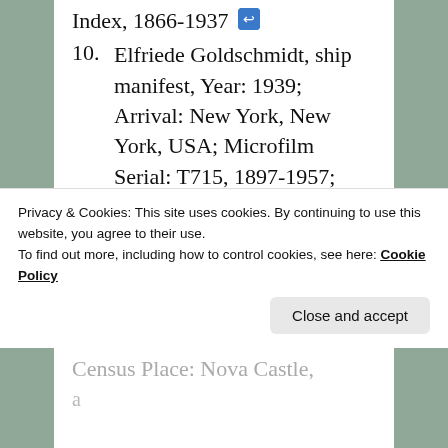Index, 1866-1937
10. Elfriede Goldschmidt, ship manifest, Year: 1939; Arrival: New York, New York, USA; Microfilm Serial: T715, 1897-1957; Line: 6; Page Number: 8, Ancestry.com. New York, Passenger and Crew Lists (including Castle Garden and Ellis Island), 1820-1957
Privacy & Cookies: This site uses cookies. By continuing to use this website, you agree to their use.
To find out more, including how to control cookies, see here: Cookie Policy
Close and accept
Census Place: Nova Castle,